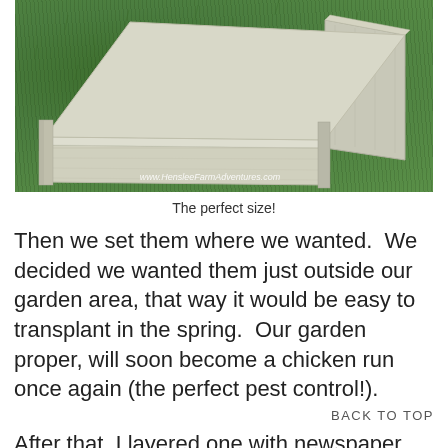[Figure (photo): A white-painted wooden raised garden bed frame sitting on green grass, photographed from above at an angle. The wooden boards are weathered/painted white. Watermark reads 'www.HensleeFarmAdventures.com']
The perfect size!
Then we set them where we wanted.  We decided we wanted them just outside our garden area, that way it would be easy to transplant in the spring.  Our garden proper, will soon become a chicken run once again (the perfect pest control!).
BACK TO TOP
After that, I layered one with newspaper, and the